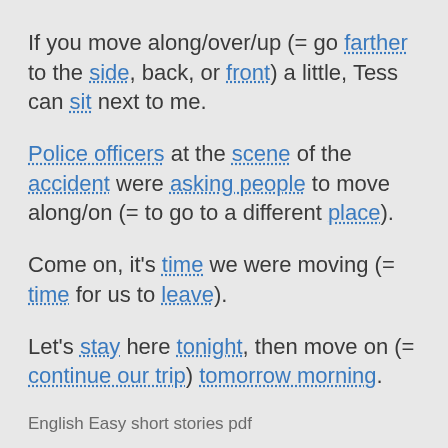If you move along/over/up (= go farther to the side, back, or front) a little, Tess can sit next to me.
Police officers at the scene of the accident were asking people to move along/on (= to go to a different place).
Come on, it’s time we were moving (= time for us to leave).
Let’s stay here tonight, then move on (= continue our trip) tomorrow morning.
English Easy short stories pdf